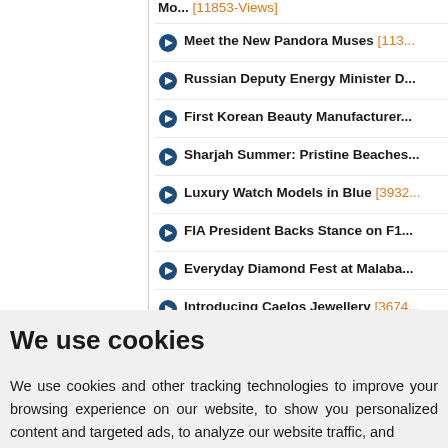Mo... [11853-Views]
Meet the New Pandora Muses [113...
Russian Deputy Energy Minister D...
First Korean Beauty Manufacturer...
Sharjah Summer: Pristine Beaches...
Luxury Watch Models in Blue [3932...
FIA President Backs Stance on F1...
Everyday Diamond Fest at Malaba...
Introducing Caelos Jewellery [3674...
We use cookies
We use cookies and other tracking technologies to improve your browsing experience on our website, to show you personalized content and targeted ads, to analyze our website traffic, and